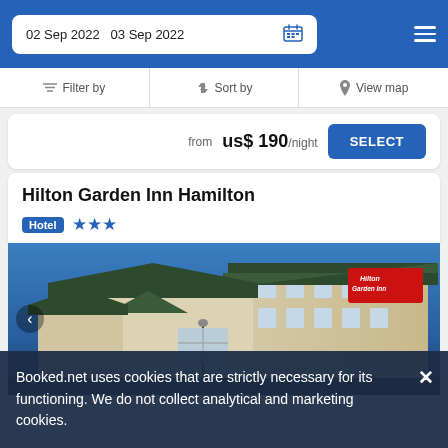02 Sep 2022   03 Sep 2022
Filter by   Sort by   View map
from us$ 190/night
SELECT
Hilton Garden Inn Hamilton
Hotel ★★★
[Figure (photo): Exterior photo of Hilton Garden Inn Hamilton showing the hotel building with green roofs against a blue sky, with the Hilton Garden Inn red logo sign visible on the building facade.]
Booked.net uses cookies that are strictly necessary for its functioning. We do not collect analytical and marketing cookies.